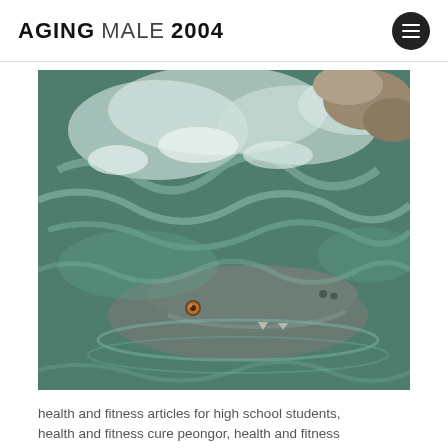AGING MALE 2004
[Figure (photo): A crocodile partially submerged in turbulent greenish water, with rocks visible in the upper right corner. The crocodile's head is visible in the lower portion of the image, with one amber/orange eye visible.]
health and fitness articles for high school students, health and fitness cure peongor, health and fitness